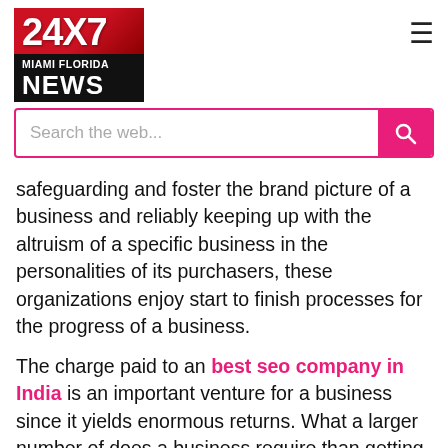[Figure (logo): 24X7 Miami Florida News logo — red gradient top with '24X7' in white bold, black bottom with 'MIAMI FLORIDA' and 'NEWS' in white]
≡
Search the web...
safeguarding and foster the brand picture of a business and reliably keeping up with the altruism of a specific business in the personalities of its purchasers, these organizations enjoy start to finish processes for the progress of a business.
The charge paid to an best seo company in India is an important venture for a business since it yields enormous returns. What a larger number of does a business require than getting enormous traffic and business to its site? These organizations have arrangements that are well defined for various types of ventures. Given the serious